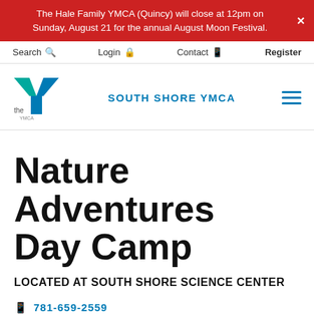The Hale Family YMCA (Quincy) will close at 12pm on Sunday, August 21 for the annual August Moon Festival.
Search  Login  Contact  Register
[Figure (logo): YMCA logo with green and blue Y shape and 'the' text, alongside 'SOUTH SHORE YMCA' text in blue]
Nature Adventures Day Camp
LOCATED AT SOUTH SHORE SCIENCE CENTER
781-659-2559